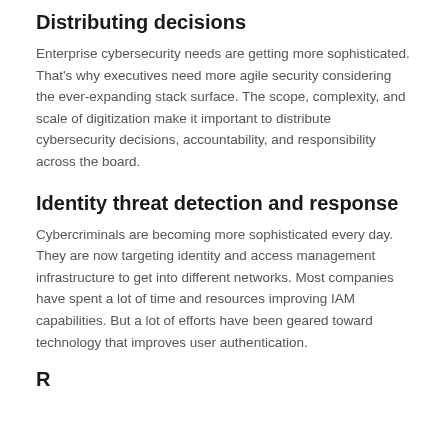Distributing decisions
Enterprise cybersecurity needs are getting more sophisticated. That's why executives need more agile security considering the ever-expanding stack surface. The scope, complexity, and scale of digitization make it important to distribute cybersecurity decisions, accountability, and responsibility across the board.
Identity threat detection and response
Cybercriminals are becoming more sophisticated every day. They are now targeting identity and access management infrastructure to get into different networks. Most companies have spent a lot of time and resources improving IAM capabilities. But a lot of efforts have been geared toward technology that improves user authentication.
R...